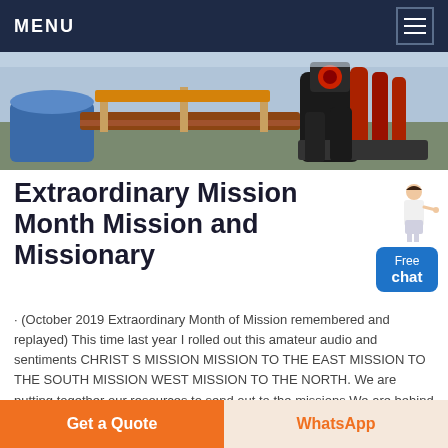MENU
[Figure (photo): Industrial machinery photo showing conveyor belts, pipes and equipment in a factory or processing facility]
Extraordinary Mission Month Mission and Missionary
· (October 2019 Extraordinary Month of Mission remembered and replayed) This time last year I rolled out this amateur audio and sentiments CHRIST S MISSION MISSION TO THE EAST MISSION TO THE SOUTH MISSION WEST MISSION TO THE NORTH. We are putting together our resources to send out to the missions We are behind the Holy Father
Chat Online